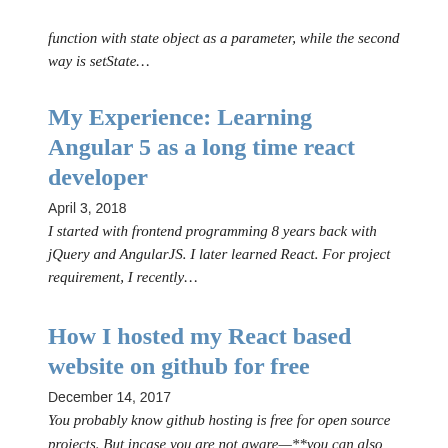function with state object as a parameter, while the second way is setState…
My Experience: Learning Angular 5 as a long time react developer
April 3, 2018
I started with frontend programming 8 years back with jQuery and AngularJS. I later learned React. For project requirement, I recently…
How I hosted my React based website on github for free
December 14, 2017
You probably know github hosting is free for open source projects. But incase you are not aware—**you can also host your personal website…